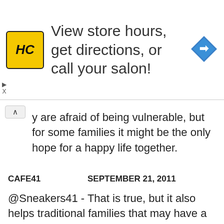[Figure (infographic): Advertisement banner with HC logo (yellow square with black HC text), text 'View store hours, get directions, or call your salon!', and a blue diamond navigation icon on the right.]
y are afraid of being vulnerable, but for some families it might be the only hope for a happy life together.
CAFE41        SEPTEMBER 21, 2011
@Sneakers41 - That is true, but it also helps traditional families that may have a dysfunctional member. For example, if the father is an alcoholic it really changes the family dynamic. The father in this situation